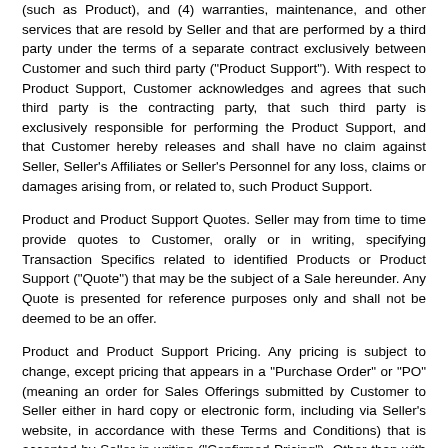(such as Product), and (4) warranties, maintenance, and other services that are resold by Seller and that are performed by a third party under the terms of a separate contract exclusively between Customer and such third party ("Product Support"). With respect to Product Support, Customer acknowledges and agrees that such third party is the contracting party, that such third party is exclusively responsible for performing the Product Support, and that Customer hereby releases and shall have no claim against Seller, Seller's Affiliates or Seller's Personnel for any loss, claims or damages arising from, or related to, such Product Support.
Product and Product Support Quotes. Seller may from time to time provide quotes to Customer, orally or in writing, specifying Transaction Specifics related to identified Products or Product Support ("Quote") that may be the subject of a Sale hereunder. Any Quote is presented for reference purposes only and shall not be deemed to be an offer.
Product and Product Support Pricing. Any pricing is subject to change, except pricing that appears in a "Purchase Order" or "PO" (meaning an order for Sales Offerings submitted by Customer to Seller either in hard copy or electronic form, including via Seller's website, in accordance with these Terms and Conditions) that is accepted by Seller in writing ("Confirmed Pricing"). Other than with respect to Confirmed Pricing, Seller reserves the right to make adjustments to pricing, Products and Product Support for reasons including, but not limited to, changes